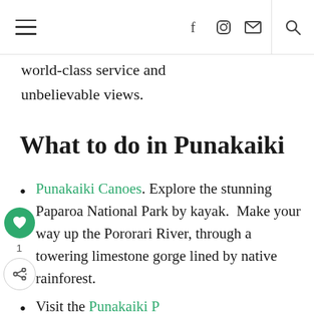[Navigation bar with hamburger menu, social icons (Facebook, Instagram, Email), and search icon]
world-class service and unbelievable views.
What to do in Punakaiki
Punakaiki Canoes. Explore the stunning Paparoa National Park by kayak.  Make your way up the Pororari River, through a towering limestone gorge lined by native rainforest.